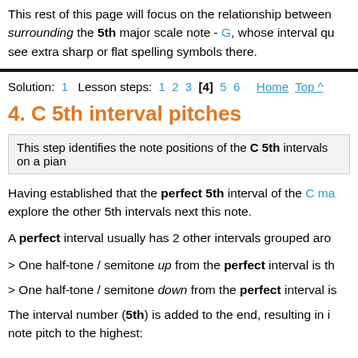This rest of this page will focus on the relationship between surrounding the 5th major scale note - G, whose interval qu... see extra sharp or flat spelling symbols there.
Solution: 1   Lesson steps: 1 2 3 [4] 5 6   Home Top ^
4. C 5th interval pitches
This step identifies the note positions of the C 5th intervals on a pia...
Having established that the perfect 5th interval of the C ma... explore the other 5th intervals next this note.
A perfect interval usually has 2 other intervals grouped aro...
> One half-tone / semitone up from the perfect interval is th...
> One half-tone / semitone down from the perfect interval is...
The interval number (5th) is added to the end, resulting in i... note pitch to the highest: